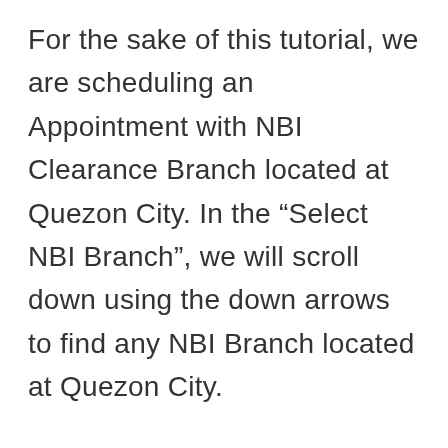For the sake of this tutorial, we are scheduling an Appointment with NBI Clearance Branch located at Quezon City. In the “Select NBI Branch”, we will scroll down using the down arrows to find any NBI Branch located at Quezon City.